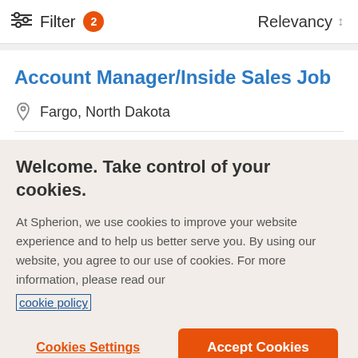Filter 2  Relevancy
Account Manager/Inside Sales Job
Fargo, North Dakota
Welcome. Take control of your cookies.
At Spherion, we use cookies to improve your website experience and to help us better serve you. By using our website, you agree to our use of cookies. For more information, please read our cookie policy
Cookies Settings  Accept Cookies